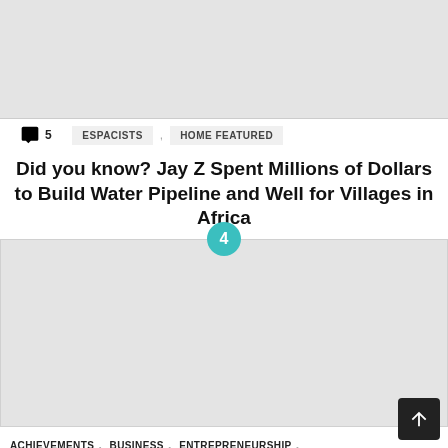[Figure (photo): Top image placeholder, light gray rectangle]
5  ESPACISTS , HOME FEATURED
Did you know? Jay Z Spent Millions of Dollars to Build Water Pipeline and Well for Villages in Africa
[Figure (photo): Article image placeholder, light gray rectangle, with badge number 4]
ACHIEVEMENTS , BUSINESS , ENTREPRENEURSHIP , HOME FEATURED , INNOVATION , TECHNOLOGY ,